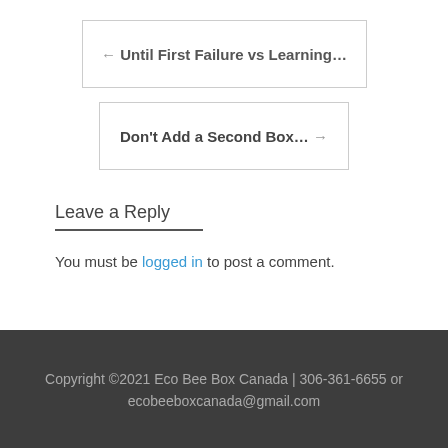← Until First Failure vs Learning…
Don't Add a Second Box… →
Leave a Reply
You must be logged in to post a comment.
Copyright ©2021 Eco Bee Box Canada | 306-361-6655 or ecobeeboxcanada@gmail.com